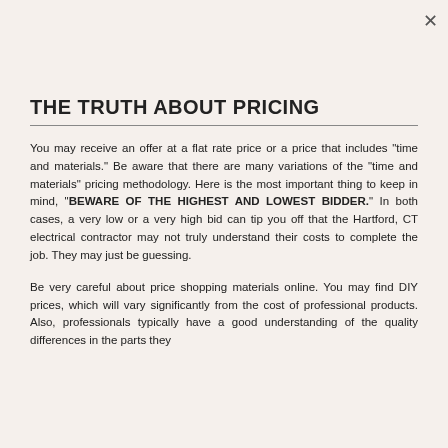THE TRUTH ABOUT PRICING
You may receive an offer at a flat rate price or a price that includes "time and materials." Be aware that there are many variations of the "time and materials" pricing methodology. Here is the most important thing to keep in mind, "BEWARE OF THE HIGHEST AND LOWEST BIDDER." In both cases, a very low or a very high bid can tip you off that the Hartford, CT electrical contractor may not truly understand their costs to complete the job. They may just be guessing.
Be very careful about price shopping materials online. You may find DIY prices, which will vary significantly from the cost of professional products. Also, professionals typically have a good understanding of the quality differences in the parts they